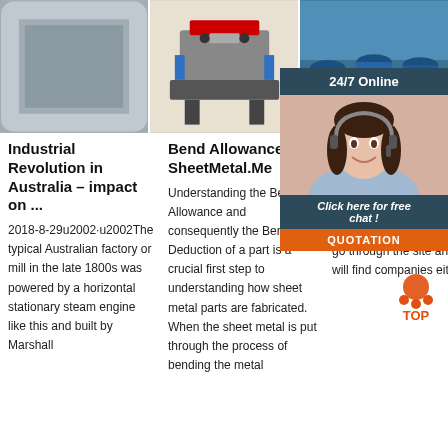[Figure (photo): Three product photos in a row: metal sheet frame corners, industrial bending machine, blue industrial drums/barrels]
[Figure (photo): Customer service agent with headset, 24/7 Online widget with chat and quotation button overlay on right side]
Industrial Revolution in Australia – impact on ...
2018-8-29u2002·u2002The typical Australian factory or mill in the late 1800s was powered by a horizontal stationary steam engine like this and built by Marshall
Bend Allowance – SheetMetal.Me
Understanding the Bend Allowance and consequently the Bend Deduction of a part is a crucial first step to understanding how sheet metal parts are fabricated. When the sheet metal is put through the process of bending the metal
PUM MAN
2021-1 10u20 MANU Pump is a we all types of pump manufacturers from around the world. You can go through the site and you will find companies either